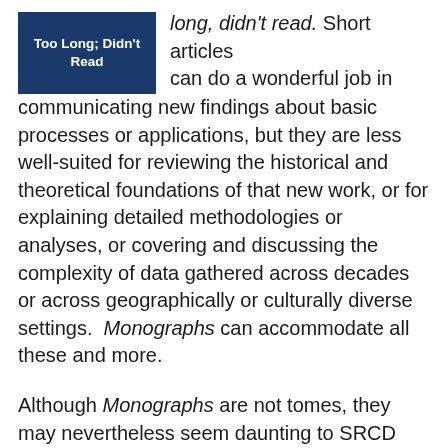[Figure (illustration): Blue box with white bold text reading 'Too Long; Didn't Read']
long, didn't read. Short articles can do a wonderful job in communicating new findings about basic processes or applications, but they are less well-suited for reviewing the historical and theoretical foundations of that new work, or for explaining detailed methodologies or analyses, or covering and discussing the complexity of data gathered across decades or across geographically or culturally diverse settings.  Monographs can accommodate all these and more.
Although Monographs are not tomes, they may nevertheless seem daunting to SRCD members who do not work in an area closely aligned with the topic of the Monograph. They are likely to